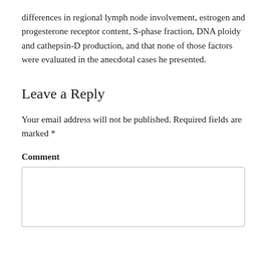differences in regional lymph node involvement, estrogen and progesterone receptor content, S-phase fraction, DNA ploidy and cathepsin-D production, and that none of those factors were evaluated in the anecdotal cases he presented.
Leave a Reply
Your email address will not be published. Required fields are marked *
Comment